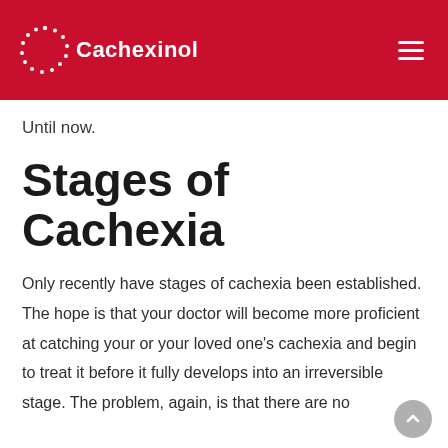Cachexinol
Until now.
Stages of Cachexia
Only recently have stages of cachexia been established. The hope is that your doctor will become more proficient at catching your or your loved one's cachexia and begin to treat it before it fully develops into an irreversible stage. The problem, again, is that there are no